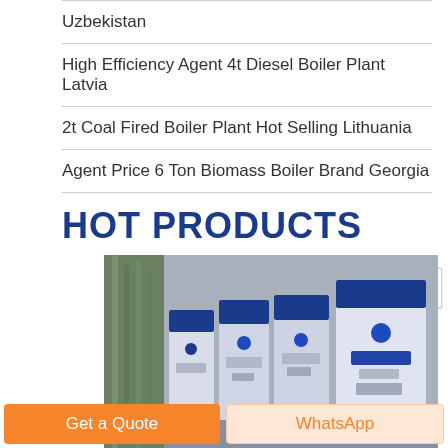Uzbekistan
High Efficiency Agent 4t Diesel Boiler Plant Latvia
2t Coal Fired Boiler Plant Hot Selling Lithuania
Agent Price 6 Ton Biomass Boiler Brand Georgia
HOT PRODUCTS
[Figure (photo): Multiple industrial boiler units in white and blue casing arranged in a row, with bamboo plants visible in the background against a grey wall.]
Get a Quote
WhatsApp